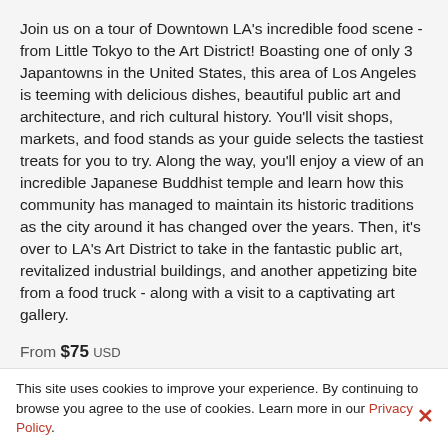Join us on a tour of Downtown LA's incredible food scene - from Little Tokyo to the Art District! Boasting one of only 3 Japantowns in the United States, this area of Los Angeles is teeming with delicious dishes, beautiful public art and architecture, and rich cultural history. You'll visit shops, markets, and food stands as your guide selects the tastiest treats for you to try. Along the way, you'll enjoy a view of an incredible Japanese Buddhist temple and learn how this community has managed to maintain its historic traditions as the city around it has changed over the years. Then, it's over to LA's Art District to take in the fantastic public art, revitalized industrial buildings, and another appetizing bite from a food truck - along with a visit to a captivating art gallery.
From $75 USD
Sorry! This experience has no availability right now.
This site uses cookies to improve your experience. By continuing to browse you agree to the use of cookies. Learn more in our Privacy Policy.